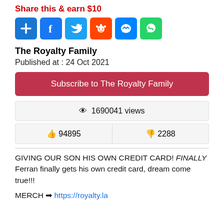Share this & earn $10
[Figure (illustration): Row of six social sharing icon buttons: Add (+), Facebook, Twitter, Reddit, Messenger, WhatsApp]
The Royalty Family
Published at : 24 Oct 2021
Subscribe to The Royalty Family
👁 1690041 views
👍 94895    👎 2288
GIVING OUR SON HIS OWN CREDIT CARD! FINALLY Ferran finally gets his own credit card, dream come true!!!
MERCH ➡ https://royalty.la